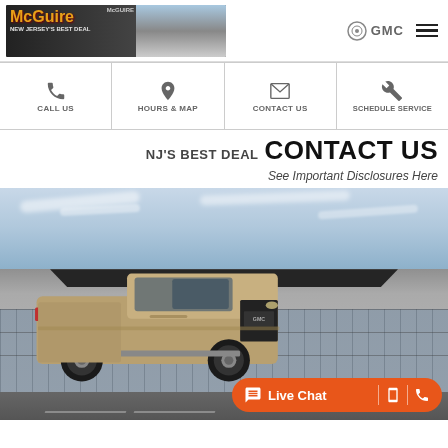[Figure (photo): McGuire Buick GMC dealership logo banner with text 'McGuire New Jersey's Best Deal' and dealership building in background]
[Figure (logo): Buick and GMC brand logos in top right header]
[Figure (infographic): Navigation bar with four items: Call Us (phone icon), Hours & Map (location pin icon), Contact Us (email icon), Schedule Service (wrench icon)]
NJ'S BEST DEAL CONTACT US
See Important Disclosures Here
[Figure (photo): Gold/tan GMC Canyon truck parked in front of a Buick GMC dealership building with glass facade, sky in background. Live Chat button visible at bottom right.]